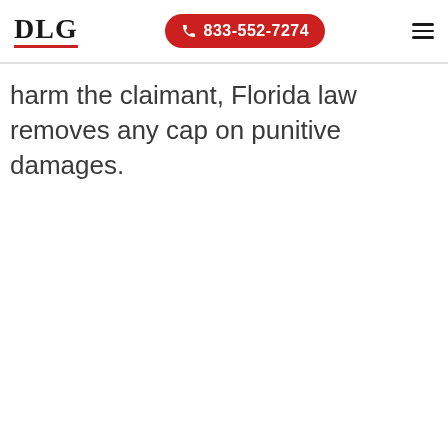DLG | 833-552-7274
harm the claimant, Florida law removes any cap on punitive damages.